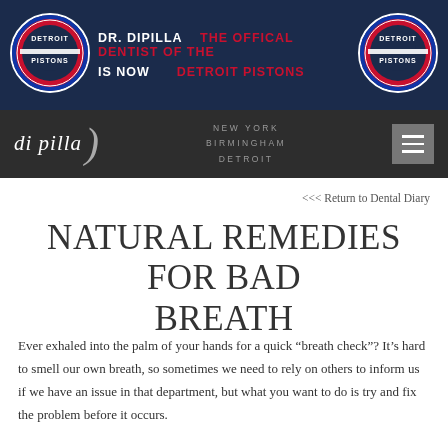DR. DIPILLA IS NOW | THE OFFICAL DENTIST OF THE DETROIT PISTONS
[Figure (logo): Detroit Pistons logo (left)]
[Figure (logo): Detroit Pistons logo (right)]
[Figure (logo): di pilla dental practice logo with navigation bar showing NEW YORK, BIRMINGHAM, DETROIT locations and hamburger menu]
<<< Return to Dental Diary
NATURAL REMEDIES FOR BAD BREATH
Ever exhaled into the palm of your hands for a quick "breath check"? It's hard to smell our own breath, so sometimes we need to rely on others to inform us if we have an issue in that department, but what you want to do is try and fix the problem before it occurs.